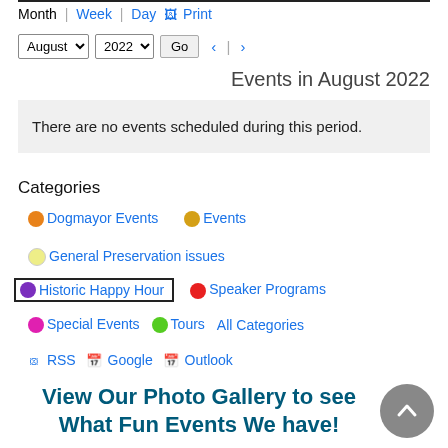Month | Week | Day | Print
August 2022  Go  < | >
Events in August 2022
There are no events scheduled during this period.
Categories
Dogmayor Events  Events
General Preservation issues
Historic Happy Hour  Speaker Programs
Special Events  Tours  All Categories
RSS  Google  Outlook
View Our Photo Gallery to see What Fun Events We have!